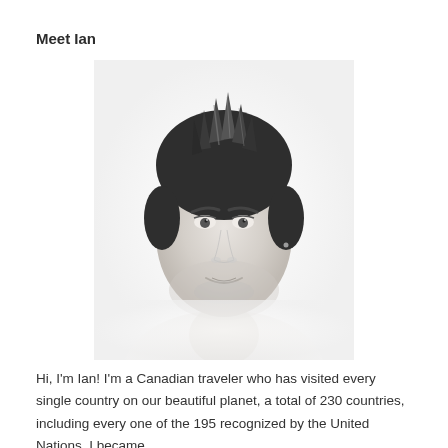Meet Ian
[Figure (photo): Black and white headshot portrait of Ian, a young man with spiky dark hair, smiling slightly, against a white background.]
Hi, I'm Ian! I'm a Canadian traveler who has visited every single country on our beautiful planet, a total of 230 countries, including every one of the 195 recognized by the United Nations. I became